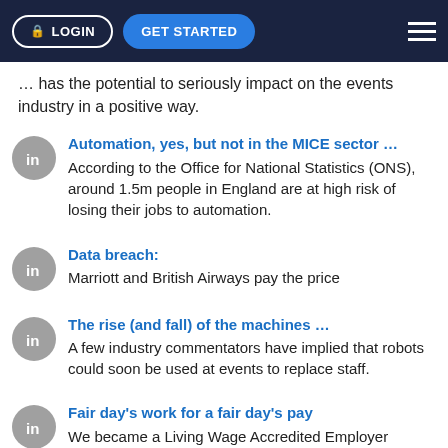LOGIN | GET STARTED
... has the potential to seriously impact on the events industry in a positive way.
Automation, yes, but not in the MICE sector ...
According to the Office for National Statistics (ONS), around 1.5m people in England are at high risk of losing their jobs to automation.
Data breach: Marriott and British Airways pay the price
The rise (and fall) of the machines ...
A few industry commentators have implied that robots could soon be used at events to replace staff.
Fair day's work for a fair day's pay
We became a Living Wage Accredited Employer